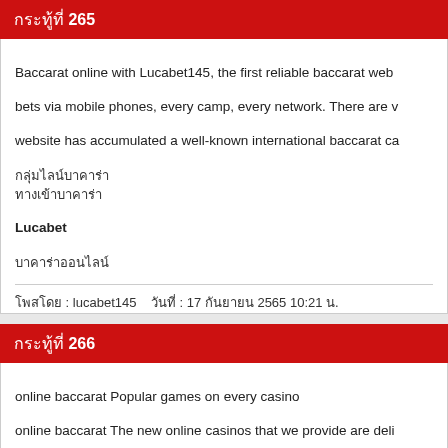กระทู้ที่ 265
Baccarat online with Lucabet145, the first reliable baccarat web bets via mobile phones, every camp, every network. There are v website has accumulated a well-known international baccarat ca [Thai text lines] Lucabet [Thai text]
โพสโดย : lucabet145   วันที่ : 17 กันยายน 2565 10:21 น.
กระทู้ที่ 266
online baccarat Popular games on every casino
online baccarat The new online casinos that we provide are deli slots, football betting or other types of gambling games are gua make it more difficult How good is it just to be a member? as w [Thai text lines] Lucabet [Thai text]